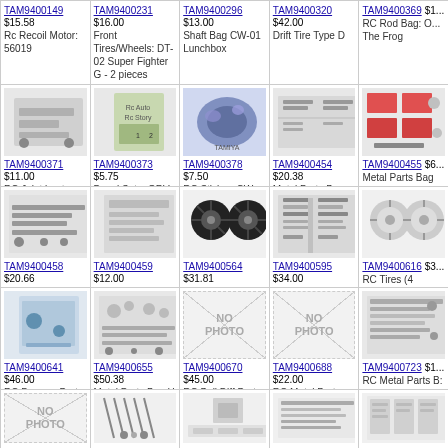| TAM9400149 $15.58 Rc Recoil Motor: 56019 | TAM9400231 $16.00 Front Tires/Wheels: DT-02 Super Fighter G - 2 pieces | TAM9400296 $13.00 Shaft Bag CW-01 Lunchbox | TAM9400320 $42.00 Drift Tire Type D | TAM9400369 $[...] RC Rod Bag: O[...] The Frog |
| TAM9400371 $11.00 RC Joint boots and Tool Bag: ORV The Frog | TAM9400373 $5.75 Decal Set: : ORV The Frog | TAM9400378 $7.50 RC Sticker: CW-01 Midnight Pumpkin Chrome Metallic Special | TAM9400454 $20.38 Metal Parts Bag F: High-Lift Toyota Hilux High Lift | TAM9400455 $[...] Metal Parts Bag High-Lift Toyota High Lift/ FORD H |
| TAM9400458 $20.66 RC Metal Parts Bag H: High-Lift FORD F350 High Lift | TAM9400459 $12.00 Metal Parts Bag G: High-Lift Toyota Hilux High Lift | TAM9400564 $31.81 TAM9400564 Pre-mounted Drift Tires 26mm wide 12mm hex (4) | TAM9400595 $34.00 RC Suspension Arm Bag: 1/16 Tank German Panther type G | TAM9400616 $[...] RC Tires (4 piec...) TT-01D Toyota S... Drift |
| TAM9400641 $46.00 RC Damper Parts Bag: Hotshot Re-Release | TAM9400655 $50.38 Metal Parts Bag H Screws Metal Parts High-Lift Toyota Hilux High | TAM9400670 $45.00 RC Ball Diff Parts Bag: DB01 Durga | TAM9400688 $22.00 RC Metal Parts Bag A: 58402 | TAM9400723 $[...] RC Metal Parts B: CR-01 Toyota... Land Cruiser |
| [NO PHOTO] | [parts image] | [parts image] | [parts image] | [parts image] |